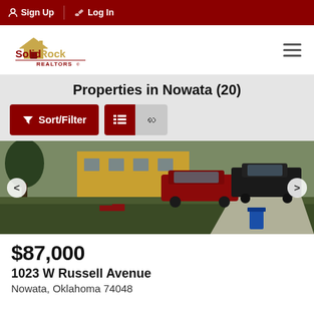Sign Up  Log In
[Figure (logo): SolidRock Realtors logo with house icon in dark red and gold]
Properties in Nowata (20)
Sort/Filter  (list view) (map view)
[Figure (photo): Exterior photo of residential property at 1023 W Russell Avenue, Nowata Oklahoma. Shows grass yard, yellow building, parked vehicles including a dark red SUV and black truck, and a blue trash can with driveway.]
$87,000
1023 W Russell Avenue
Nowata, Oklahoma 74048